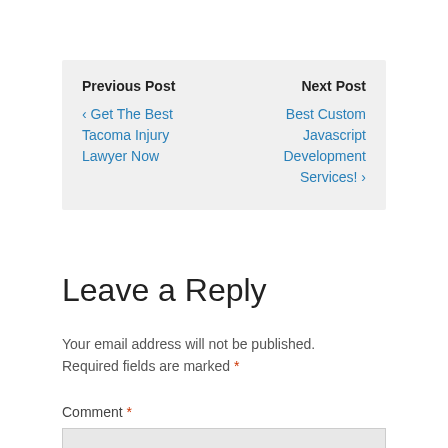Previous Post | ‹ Get The Best Tacoma Injury Lawyer Now || Next Post | Best Custom Javascript Development Services! ›
Leave a Reply
Your email address will not be published. Required fields are marked *
Comment *